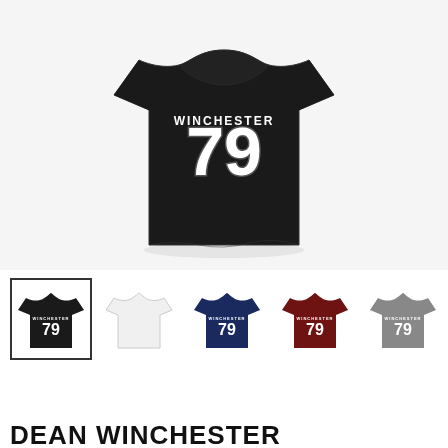[Figure (photo): Large close-up view of a black t-shirt with white number 79 and 'WINCHESTER' text printed on the front chest area, shown on a white background.]
[Figure (photo): Row of 5 t-shirt color variant thumbnails: black (selected with border), white, navy blue, dark red/maroon, and gray. Each shows the shirt with 'WINCHESTER 79' print.]
DEAN WINCHESTER